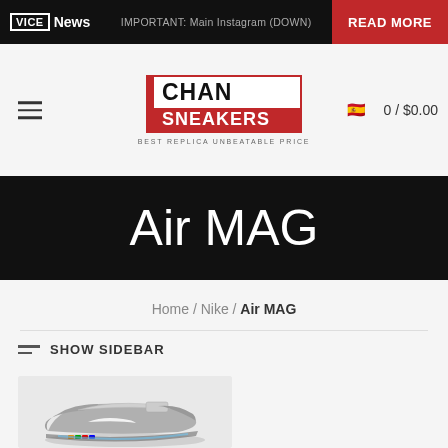VICE News | IMPORTANT: Main Instagram (DOWN) | READ MORE
[Figure (logo): CHAN SNEAKERS logo — BEST REPLICA UNBEATABLE PRICE]
Air MAG
Home / Nike / Air MAG
SHOW SIDEBAR
[Figure (photo): Nike Air MAG sneaker product photo — grey futuristic sneaker with strap and light-up sole]